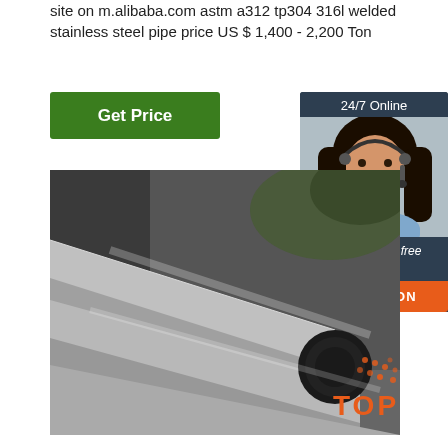site on m.alibaba.com astm a312 tp304 316l welded stainless steel pipe price US $ 1,400 - 2,200 Ton
[Figure (other): Green 'Get Price' button]
[Figure (other): 24/7 Online chat widget with photo of woman with headset, 'Click here for free chat!' text, and orange QUOTATION button]
[Figure (photo): Photo of stainless steel pipes/rods stacked together, with TOP logo overlay in bottom right corner]